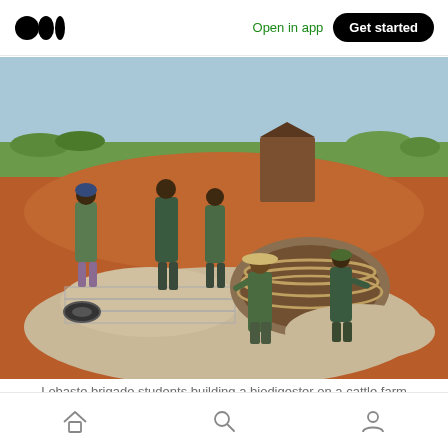Medium logo | Open in app | Get started
[Figure (photo): Workers in green uniforms building a brick biodigester dome structure in a construction site with red soil and green fields in the background. Several workers stand observing while two work inside laying bricks.]
Lobaste brigade students building a biodigester on a cattle farm in Rhamatlabama.
Home | Search | Profile